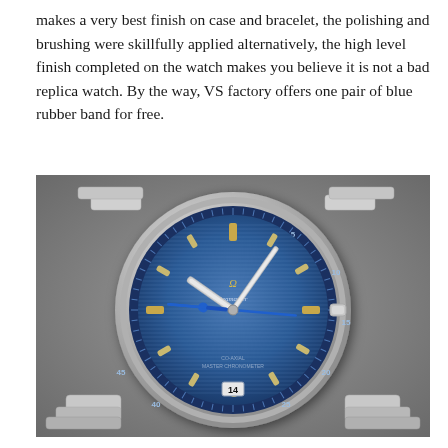makes a very best finish on case and bracelet, the polishing and brushing were skillfully applied alternatively, the high level finish completed on the watch makes you believe it is not a bad replica watch. By the way, VS factory offers one pair of blue rubber band for free.
[Figure (photo): Close-up photo of an Omega Seamaster Aqua Terra watch with a blue horizontal-stripe dial, gold/silver baton hour markers and hands, blue seconds hand, steel case and bracelet, date window at 6 o'clock, on a grey textured background.]